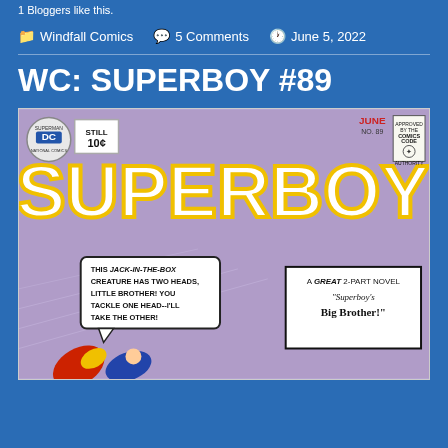1 Bloggers like this.
Windfall Comics   5 Comments   June 5, 2022
WC: SUPERBOY #89
[Figure (photo): Cover of Superboy #89 comic book. Features large 'SUPERBOY' title text in white with yellow outline on purple background. Shows DC logo, 'STILL 10¢' price, JUNE NO. 89 and Comics Code Authority seal at top. A speech bubble reads 'THIS JACK-IN-THE-BOX CREATURE HAS TWO HEADS, LITTLE BROTHER! YOU TACKLE ONE HEAD--I'LL TAKE THE OTHER!' A promo box reads 'A GREAT 2-PART NOVEL "SUPERBOY'S BIG BROTHER!"'. Two superhero figures flying at bottom.]